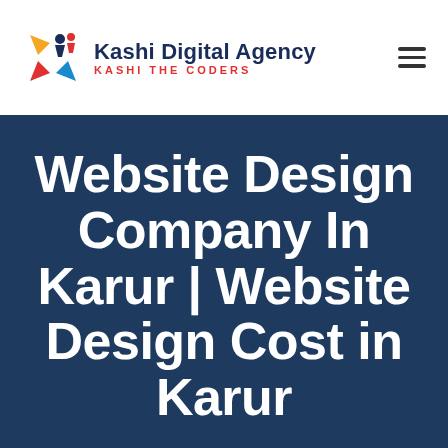[Figure (logo): Kashi Digital Agency logo with colorful pinwheel/star icon and text 'Kashi Digital Agency' above 'KASHI THE CODERS' in red]
Website Design Company In Karur | Website Design Cost in Karur